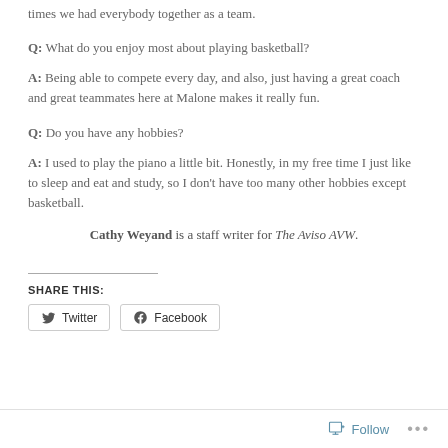times we had everybody together as a team.
Q: What do you enjoy most about playing basketball?
A: Being able to compete every day, and also, just having a great coach and great teammates here at Malone makes it really fun.
Q: Do you have any hobbies?
A: I used to play the piano a little bit. Honestly, in my free time I just like to sleep and eat and study, so I don't have too many other hobbies except basketball.
Cathy Weyand is a staff writer for The Aviso AVW.
SHARE THIS:
Twitter  Facebook
Follow  ...